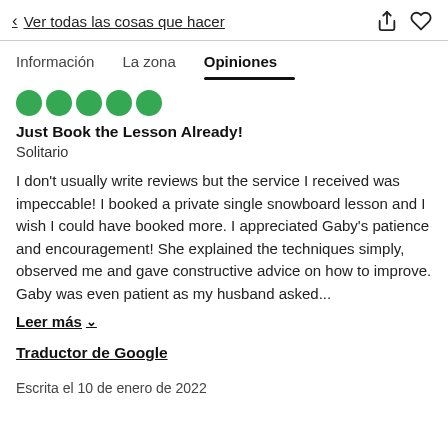< Ver todas las cosas que hacer
Información   La zona   Opiniones
Just Book the Lesson Already!
Solitario
I don't usually write reviews but the service I received was impeccable! I booked a private single snowboard lesson and I wish I could have booked more. I appreciated Gaby's patience and encouragement! She explained the techniques simply, observed me and gave constructive advice on how to improve. Gaby was even patient as my husband asked...
Leer más ∨
Traductor de Google
Escrita el 10 de enero de 2022